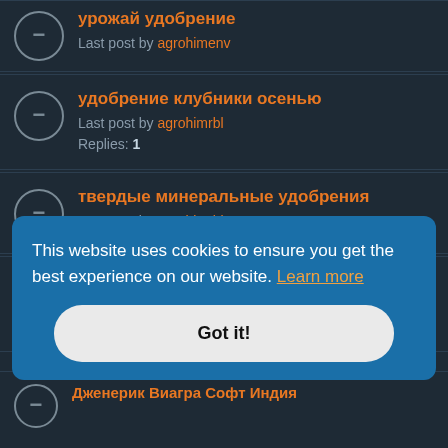урожай удобрение
Last post by agrohimenv
удобрение клубники осенью
Last post by agrohimrbl
Replies: 1
твердые минеральные удобрения
Last post by agrohimrbl
циркон удобрение
Last post by agrohimcvr
Replies: 1
This website uses cookies to ensure you get the best experience on our website. Learn more
Got it!
Дженерик Виагра Софт Индия
Last post by ...